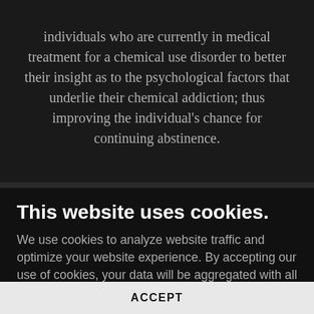individuals who are currently in medical treatment for a chemical use disorder to better their insight as to the psychological factors that underlie their chemical addiction; thus improving the individual's chance for continuing abstinence.
This website uses cookies.
We use cookies to analyze website traffic and optimize your website experience. By accepting our use of cookies, your data will be aggregated with all other user data.
ACCEPT